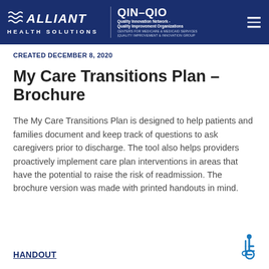Alliant Health Solutions | QIN-QIO Quality Innovation Network - Quality Improvement Organizations | Centers for Medicare & Medicaid Services | Quality Improvement & Innovation Group
CREATED DECEMBER 8, 2020
My Care Transitions Plan – Brochure
The My Care Transitions Plan is designed to help patients and families document and keep track of questions to ask caregivers prior to discharge. The tool also helps providers proactively implement care plan interventions in areas that have the potential to raise the risk of readmission. The brochure version was made with printed handouts in mind.
HANDOUT